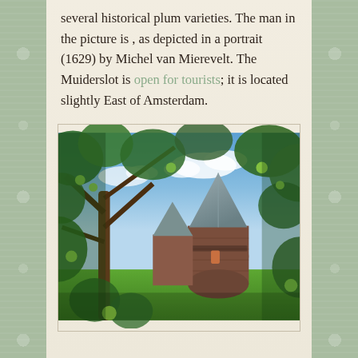several historical plum varieties. The man in the picture is , as depicted in a portrait (1629) by Michel van Mierevelt. The Muiderslot is open for tourists; it is located slightly East of Amsterdam.
[Figure (photo): Photograph of Muiderslot castle tower seen through green leafy branches with unripe green plums/fruits, blue sky with white clouds in background, brick round tower with pointed grey roof]